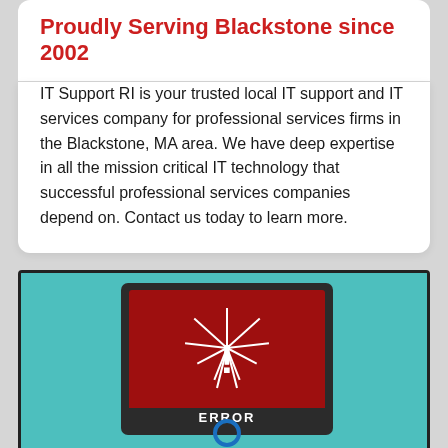Proudly Serving Blackstone since 2002
IT Support RI is your trusted local IT support and IT services company for professional services firms in the Blackstone, MA area. We have deep expertise in all the mission critical IT technology that successful professional services companies depend on. Contact us today to learn more.
[Figure (illustration): An illustration showing a computer monitor/laptop with a red error screen displaying an exclamation mark with radiating lines and the word ERROR at the bottom, set against a teal background. A blue circle appears at the bottom of the monitor.]